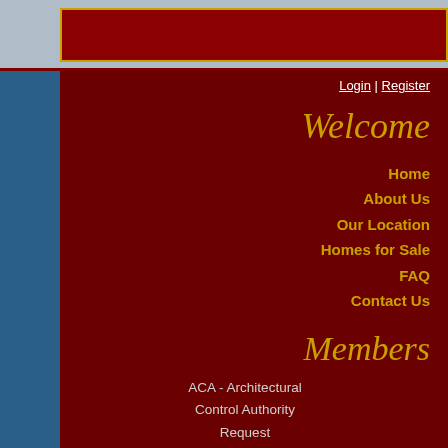Login | Register
Welcome
Home
About Us
Our Location
Homes for Sale
FAQ
Contact Us
Members
ACA - Architectural Control Authority Request
Board Members
Committees
Board of Directors Meetings:
The meetings are held on the second M... Homeowners are welcome to attend, a...
Meetings are Held: February, March, Ma...
Note:  Meeting time and dates m... the upcoming events section of the we...
2022 Schedule
Mar 12
April 11
May 19
August 8
October 10
~ Announcements ~
None listed at this time
~ Upcoming Ev...